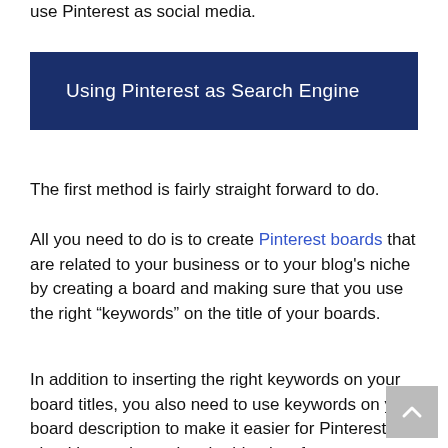use Pinterest as social media.
Using Pinterest as Search Engine
The first method is fairly straight forward to do.
All you need to do is to create Pinterest boards that are related to your business or to your blog's niche by creating a board and making sure that you use the right “keywords” on the title of your boards.
In addition to inserting the right keywords on your board titles, you also need to use keywords on your board description to make it easier for Pinterest algorithm to determine the identity of